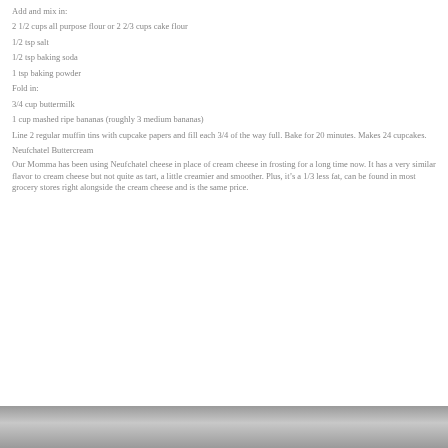Add and mix in:
2 1/2 cups all purpose flour or 2 2/3 cups cake flour
1/2 tsp salt
1/2 tsp baking soda
1 tsp baking powder
Fold in:
3/4 cup buttermilk
1 cup mashed ripe bananas (roughly 3 medium bananas)
Line 2 regular muffin tins with cupcake papers and fill each 3/4 of the way full. Bake for 20 minutes. Makes 24 cupcakes.
Neufchatel Buttercream
Our Momma has been using Neufchatel cheese in place of cream cheese in frosting for a long time now. It has a very similar flavor to cream cheese but not quite as tart, a little creamier and smoother. Plus, it’s a 1/3 less fat, can be found in most grocery stores right alongside the cream cheese and is the same price.
[Figure (photo): Photo strip showing cupcakes or related baking imagery]